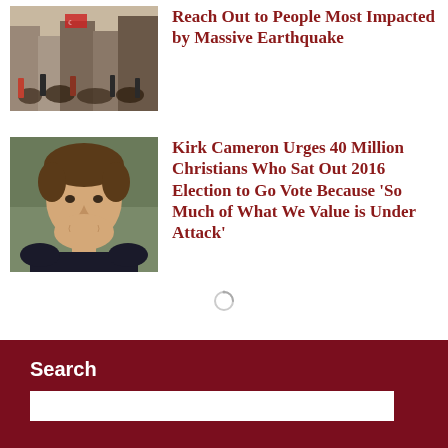[Figure (photo): Crowd scene, earthquake aftermath, Turkish flag visible]
Reach Out to People Most Impacted by Massive Earthquake
[Figure (photo): Headshot of Kirk Cameron smiling, wearing dark shirt]
Kirk Cameron Urges 40 Million Christians Who Sat Out 2016 Election to Go Vote Because ‘So Much of What We Value is Under Attack’
[Figure (other): Loading spinner icon]
Search